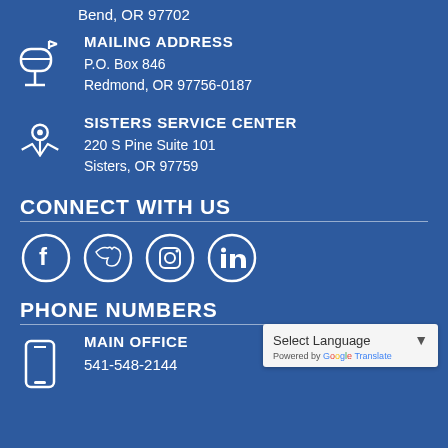Bend, OR 97702
MAILING ADDRESS
P.O. Box 846
Redmond, OR 97756-0187
SISTERS SERVICE CENTER
220 S Pine Suite 101
Sisters, OR 97759
CONNECT WITH US
[Figure (illustration): Four social media icons in circles: Facebook, Twitter, Instagram, LinkedIn]
PHONE NUMBERS
MAIN OFFICE
541-548-2144